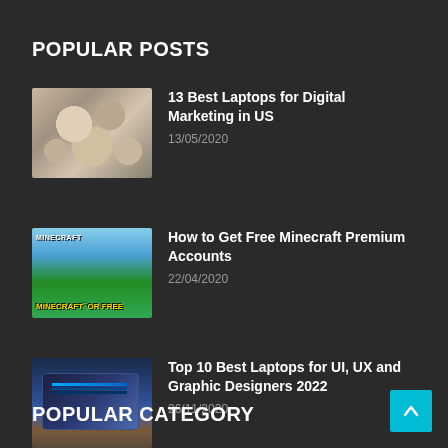POPULAR POSTS
13 Best Laptops for Digital Marketing in US
13/05/2020
How to Get Free Minecraft Premium Accounts
22/04/2020
Top 10 Best Laptops for UI, UX and Graphic Designers 2022
26/11/2020
POPULAR CATEGORY